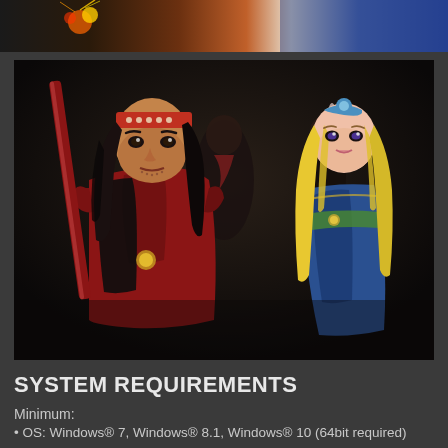[Figure (photo): Top banner image showing action/explosion visual effects with red, white and blue colors — game screenshot banner]
[Figure (photo): Game screenshot showing two main characters: a male warrior in red samurai armor with a red staff and headband with long black hair in the foreground, and a female character with long blonde hair in blue attire on the right. Background shows additional characters in a dark scene.]
SYSTEM REQUIREMENTS
Minimum:
OS: Windows® 7, Windows® 8.1, Windows® 10 (64bit required)
Processor: Core i7 870
Memory: 4 GB RAM